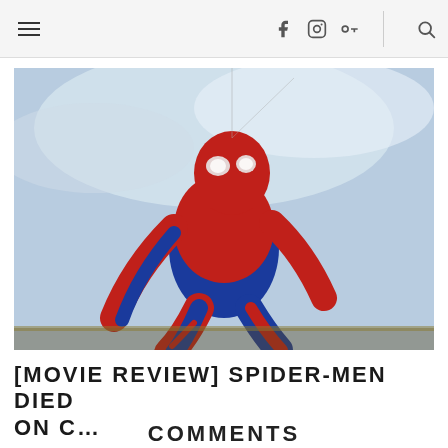☰ f ☷ g+ 🔍
[Figure (photo): Spider-Man in red and blue suit crouching on a rooftop, photographed from below against a cloudy sky]
[MOVIE REVIEW] SPIDER-MEN DIED ON C...
COMMENTS